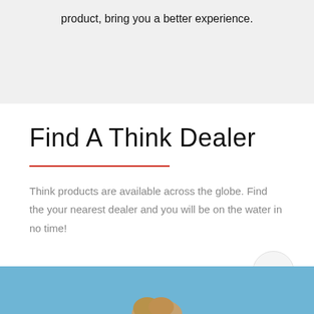product, bring you a better experience.
Find A Think Dealer
Think products are available across the globe. Find the your nearest dealer and you will be on the water in no time!
[Figure (photo): Bottom section with blue sky background and top of a person's head visible]